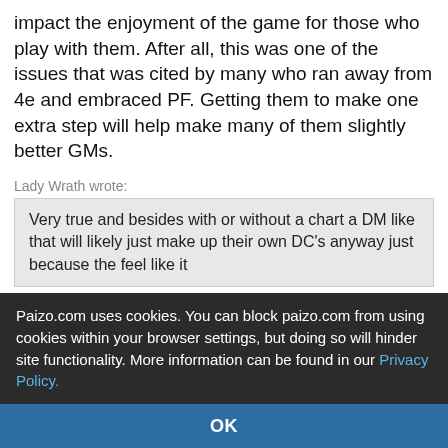impact the enjoyment of the game for those who play with them. After all, this was one of the issues that was cited by many who ran away from 4e and embraced PF. Getting them to make one extra step will help make many of them slightly better GMs.
Lady Wrath wrote:
Very true and besides with or without a chart a DM like that will likely just make up their own DC's anyway just because the feel like it
While still GMs will do this, it is demonstrated that not all GMs will. And this table is of no use for GMs who will just make up numbers so it has no value to those GMs.
I also love how when I initially made the thread that
Paizo.com uses cookies. You can block paizo.com from using cookies within your browser settings, but doing so will hinder site functionality. More information can be found in our Privacy Policy.
OK